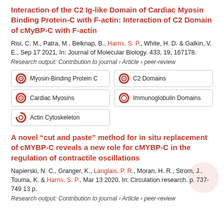Interaction of the C2 Ig-like Domain of Cardiac Myosin Binding Protein-C with F-actin: Interaction of C2 Domain of cMyBP-C with F-actin
Risi, C. M., Patra, M., Belknap, B., Harris, S. P., White, H. D. & Galkin, V. E., Sep 17 2021, In: Journal of Molecular Biology. 433, 19, 167178.
Research output: Contribution to journal › Article › peer-review
Myosin-Binding Protein C
C2 Domains
Cardiac Myosins
Immunoglobulin Domains
Actin Cytoskeleton
A novel “cut and paste” method for in situ replacement of cMYBP-C reveals a new role for cMYBP-C in the regulation of contractile oscillations
Napierski, N. C., Granger, K., Langlais, P. R., Moran, H. R., Strom, J., Touma, K. & Harris, S. P., Mar 13 2020, In: Circulation research. p. 737-749 13 p.
Research output: Contribution to journal › Article › peer-review